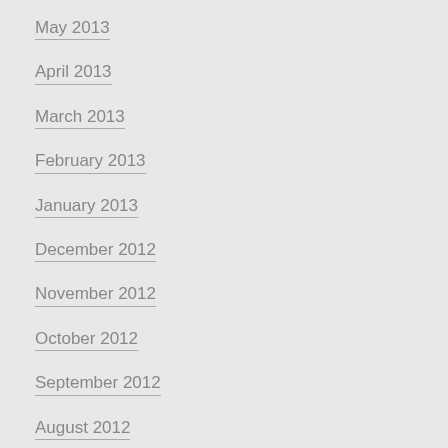May 2013
April 2013
March 2013
February 2013
January 2013
December 2012
November 2012
October 2012
September 2012
August 2012
July 2012
June 2012
May 2012
April 2012